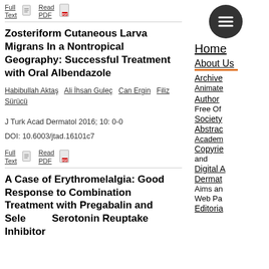Full Text  Read PDF
Zosteriform Cutaneous Larva Migrans In a Nontropical Geography: Successful Treatment with Oral Albendazole
Habibullah Aktaş  Ali İhsan Guleç  Can Ergin  Filiz Sürücü
J Turk Acad Dermatol 2016; 10: 0-0
DOI: 10.6003/jtad.16101c7
Full Text  Read PDF
A Case of Erythromelalgia: Good Response to Combination Treatment with Pregabalin and Selective Serotonin Reuptake Inhibitor
Home
About Us
Archive  Animate
Author  Free Of  Society  Abstract  Academy  Copyright  and  Digital A  Dermat  Aims an  Web Pa  Editorial